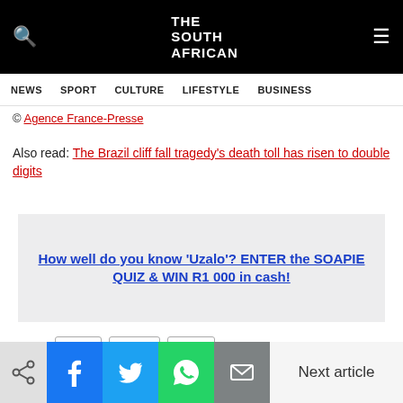THE SOUTH AFRICAN
NEWS  SPORT  CULTURE  LIFESTYLE  BUSINESS
© Agence France-Presse
Also read: The Brazil cliff fall tragedy's death toll has risen to double digits
How well do you know 'Uzalo'? ENTER the SOAPIE QUIZ & WIN R1 000 in cash!
Tags: Brazil  celebs  music
Next article